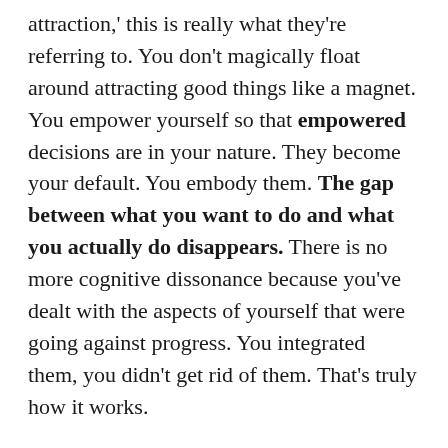attraction,' this is really what they're referring to. You don't magically float around attracting good things like a magnet. You empower yourself so that empowered decisions are in your nature. They become your default. You embody them. The gap between what you want to do and what you actually do disappears. There is no more cognitive dissonance because you've dealt with the aspects of yourself that were going against progress. You integrated them, you didn't get rid of them. That's truly how it works.
Feeling unsafe, unheard, or unable to express in groups is real trauma because you are severed from...